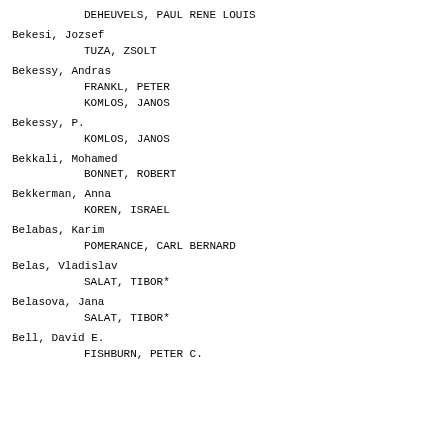DEHEUVELS, PAUL RENE LOUIS
Bekesi, Jozsef
        TUZA, ZSOLT
Bekessy, Andras
        FRANKL, PETER
        KOMLOS, JANOS
Bekessy, P.
        KOMLOS, JANOS
Bekkali, Mohamed
        BONNET, ROBERT
Bekkerman, Anna
        KOREN, ISRAEL
Belabas, Karim
        POMERANCE, CARL BERNARD
Belas, Vladislav
        SALAT, TIBOR*
Belasova, Jana
        SALAT, TIBOR*
Bell, David E.
        FISHBURN, PETER C.